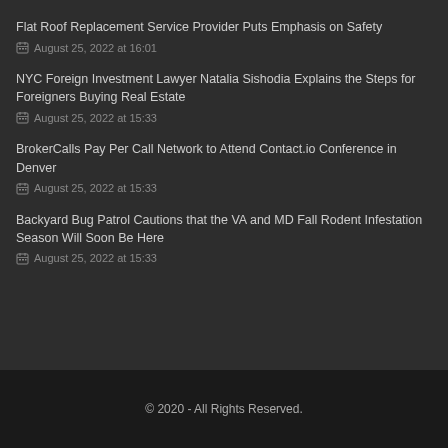Flat Roof Replacement Service Provider Puts Emphasis on Safety
August 25, 2022 at 16:01
NYC Foreign Investment Lawyer Natalia Sishodia Explains the Steps for Foreigners Buying Real Estate
August 25, 2022 at 15:33
BrokerCalls Pay Per Call Network to Attend Contact.io Conference in Denver
August 25, 2022 at 15:33
Backyard Bug Patrol Cautions that the VA and MD Fall Rodent Infestation Season Will Soon Be Here
August 25, 2022 at 15:33
© 2020 - All Rights Reserved.